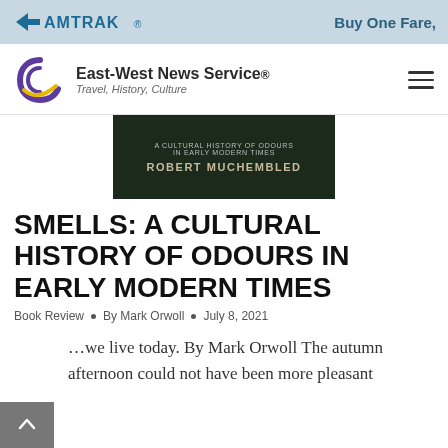[Figure (other): Amtrak advertisement banner with logo and text 'Buy One Fare,']
[Figure (logo): East-West News Service logo with purple and yellow swirl icon, site name and tagline 'Travel, History, Culture']
[Figure (photo): Dark book cover showing text: 'A Cultural History of Odours In Early Modern Times' and 'Robert Muchembled']
SMELLS: A CULTURAL HISTORY OF ODOURS IN EARLY MODERN TIMES
Book Review · By Mark Orwoll · July 8, 2021
…we live today. By Mark Orwoll The autumn afternoon could not have been more pleasant